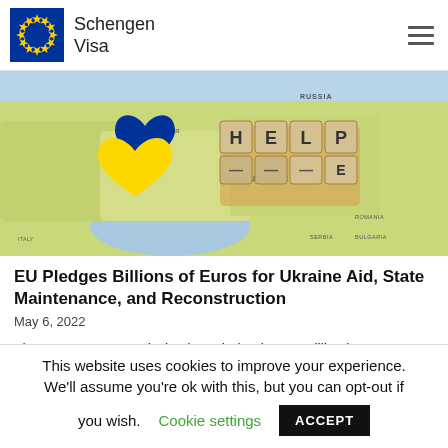Schengen Visa
[Figure (photo): Map of Europe with Ukrainian flag colors (blue and yellow) heart shapes and scrabble tiles spelling HELP placed over Ukraine region]
EU Pledges Billions of Euros for Ukraine Aid, State Maintenance, and Reconstruction
May 6, 2022
The European Commission has pledged €200 million is
This website uses cookies to improve your experience. We'll assume you're ok with this, but you can opt-out if you wish. Cookie settings ACCEPT